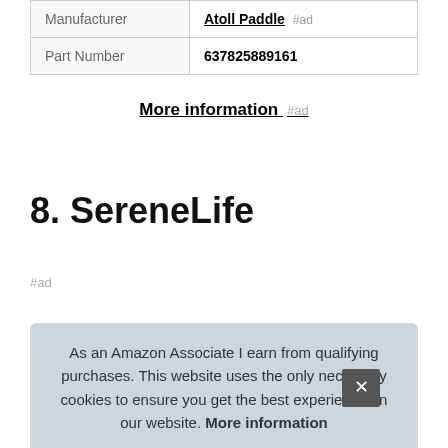| Manufacturer | Atoll Paddle #ad |
| Part Number | 637825889161 |
More information #ad
8. SereneLife
#ad
As an Amazon Associate I earn from qualifying purchases. This website uses the only necessary cookies to ensure you get the best experience on our website. More information